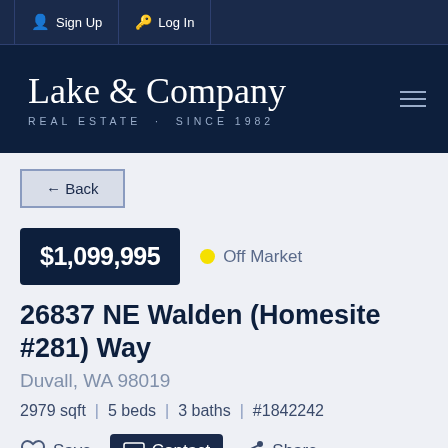Sign Up | Log In
Lake & Company
REAL ESTATE · SINCE 1982
← Back
$1,099,995 • Off Market
26837 NE Walden (Homesite #281) Way
Duvall, WA 98019
2979 sqft | 5 beds | 3 baths | #1842242
Save  Contact  Share